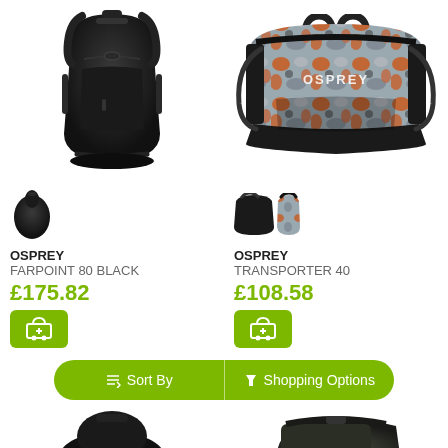[Figure (photo): Osprey Farpoint 80 Black backpack, front view, all black]
[Figure (photo): Osprey Transporter 40 duffel bag, camo orange/grey pattern]
[Figure (photo): Small thumbnail of black Osprey bag]
[Figure (photo): Two small thumbnails of Osprey Transporter bags]
OSPREY
FARPOINT 80 BLACK
£175.82
OSPREY
TRANSPORTER 40
£108.58
Sort By
Shopping Options
[Figure (photo): Partial view of a black bag at bottom left]
[Figure (photo): Partial view of a dark olive/black shoulder bag at bottom right]